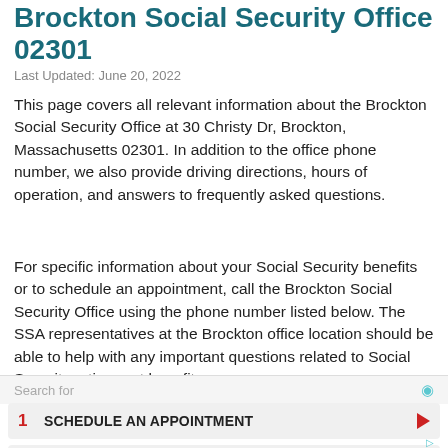Brockton Social Security Office 02301
Last Updated: June 20, 2022
This page covers all relevant information about the Brockton Social Security Office at 30 Christy Dr, Brockton, Massachusetts 02301. In addition to the office phone number, we also provide driving directions, hours of operation, and answers to frequently asked questions.
For specific information about your Social Security benefits or to schedule an appointment, call the Brockton Social Security Office using the phone number listed below. The SSA representatives at the Brockton office location should be able to help with any important questions related to Social Security retirement benefits,
Search for
1  SCHEDULE AN APPOINTMENT
2  HOW TO APPLY FOR DISABILITY